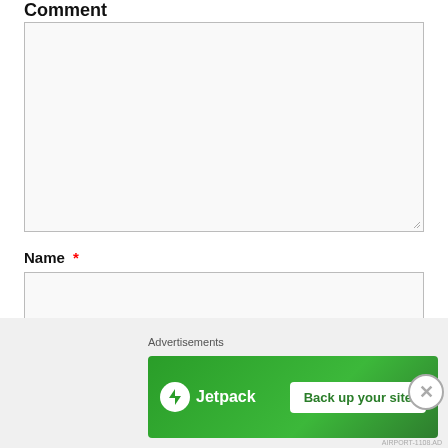Comment
[Figure (screenshot): Large empty comment textarea input box with resize handle at bottom-right]
Name *
[Figure (screenshot): Single-line Name text input box]
Email *
[Figure (screenshot): Jetpack advertisement banner with 'Back up your site' button and close (X) button, labeled Advertisements]